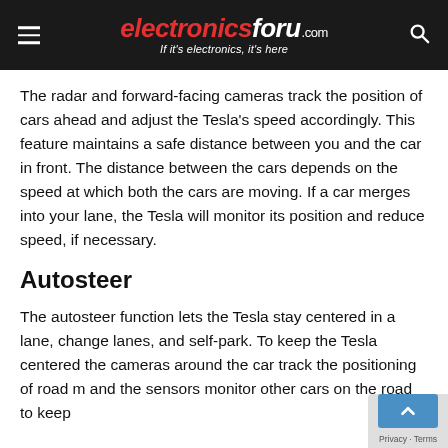electronicsforu.com — If it's electronics, it's here
The radar and forward-facing cameras track the position of cars ahead and adjust the Tesla's speed accordingly. This feature maintains a safe distance between you and the car in front. The distance between the cars depends on the speed at which both the cars are moving. If a car merges into your lane, the Tesla will monitor its position and reduce speed, if necessary.
Autosteer
The autosteer function lets the Tesla stay centered in a lane, change lanes, and self-park. To keep the Tesla centered the cameras around the car track the positioning of road m and the sensors monitor other cars on the road to keep